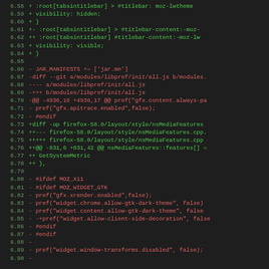[Figure (screenshot): Code diff view showing lines 6.58 through 6.90 of a patch file. Lines with + prefix are shown in green (additions), lines with - prefix are shown in red (deletions). The code involves CSS rules for tabsintitlebar, JAR_MANIFESTS, libpref/init/all.js modifications, and nsMediaFeatures.cpp changes related to Firefox browser source code.]